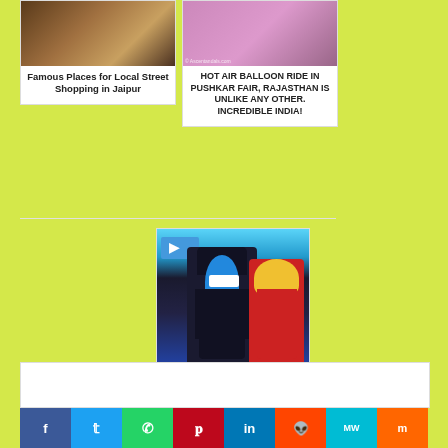[Figure (photo): Desert landscape photo used as thumbnail for Famous Places for Local Street Shopping in Jaipur]
Famous Places for Local Street Shopping in Jaipur
[Figure (photo): Hot air balloon festival photo, Pushkar Fair, Rajasthan]
HOT AIR BALLOON RIDE IN PUSHKAR FAIR, RAJASTHAN IS UNLIKE ANY OTHER. INCREDIBLE INDIA!
[Figure (photo): Two people in cosplay costumes (anime characters) at Tokyo Wonderland]
10 REASONS WHY YOU SHOULD VISIT TOKYO WONDERLAND BEFORE OLYMPICS/PARALYMPICS 2020!
[Figure (other): Advertisement box]
[Figure (infographic): Social share buttons: Facebook, Twitter, WhatsApp, Pinterest, LinkedIn, Reddit, MW, Mix]